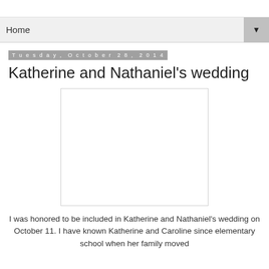Home
Tuesday, October 28, 2014
Katherine and Nathaniel's wedding
[Figure (photo): A blank/white image placeholder with a light border, representing a wedding photo]
I was honored to be included in Katherine and Nathaniel's wedding on October 11. I have known Katherine and Caroline since elementary school when her family moved